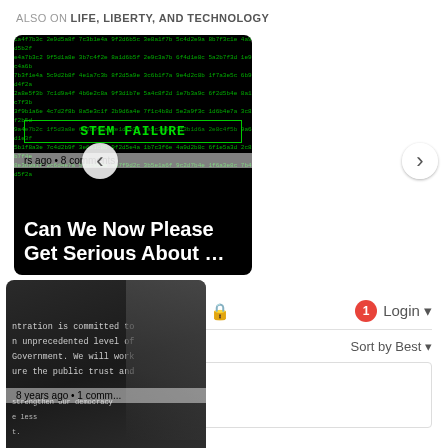ALSO ON LIFE, LIBERTY, AND TECHNOLOGY
[Figure (screenshot): Carousel showing two article thumbnails. Left card: matrix-style green code background with 'STEM FAILURE' title bar, metadata '8 comments', headline 'Can We Now Please Get Serious About ...'. Right card: dark photo/text background with metadata '8 years ago • 1 comm...', headline 'IRS: Bad Sectors or Bad Intentions?'. Left and right navigation arrows visible.]
Comments   Community   🔒   1   Login
♡ Favorite   Sort by Best
Start the discussion…
LOG IN WITH
[Figure (logo): Social login icons: Disqus (D), Facebook (f), Twitter (bird), Google (G)]